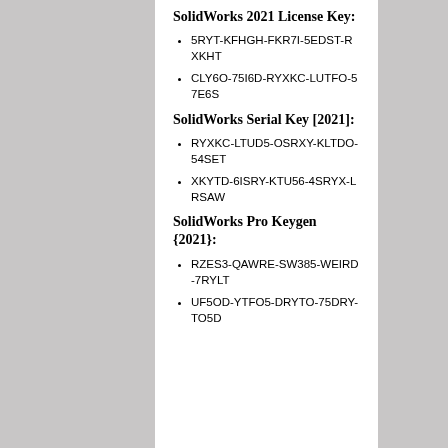SolidWorks 2021 License Key:
5RYT-KFHGH-FKR7I-5EDST-RXKHT
CLY6O-75I6D-RYXKC-LUTFO-57E6S
SolidWorks Serial Key [2021]:
RYXKC-LTUD5-OSRXY-KLTDO-54SET
XKYTD-6ISRY-KTU56-4SRYX-LRSAW
SolidWorks Pro Keygen {2021}:
RZES3-QAWRE-SW385-WEIRD-7RYLT
UF5OD-YTFO5-DRYTO-75DRY-TO5D